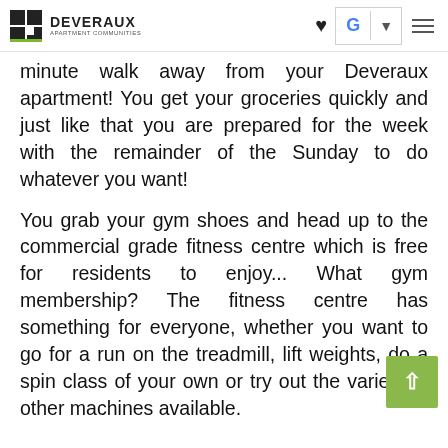DEVERAUX APARTMENT COMMUNITIES
minute walk away from your Deveraux apartment! You get your groceries quickly and just like that you are prepared for the week with the remainder of the Sunday to do whatever you want!
You grab your gym shoes and head up to the commercial grade fitness centre which is free for residents to enjoy... What gym membership? The fitness centre has something for everyone, whether you want to go for a run on the treadmill, lift weights, do a spin class of your own or try out the variety of other machines available.